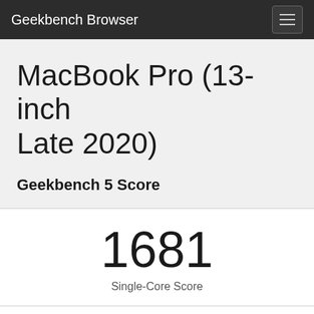Geekbench Browser
MacBook Pro (13-inch Late 2020)
Geekbench 5 Score
1681
Single-Core Score
7168